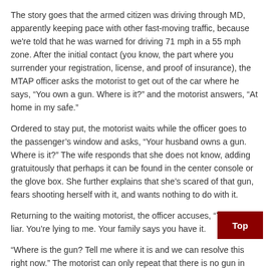The story goes that the armed citizen was driving through MD, apparently keeping pace with other fast-moving traffic, because we're told that he was warned for driving 71 mph in a 55 mph zone. After the initial contact (you know, the part where you surrender your registration, license, and proof of insurance), the MTAP officer asks the motorist to get out of the car where he says, “You own a gun. Where is it?” and the motorist answers, “At home in my safe.”
Ordered to stay put, the motorist waits while the officer goes to the passenger’s window and asks, “Your husband owns a gun. Where is it?” The wife responds that she does not know, adding gratuitously that perhaps it can be found in the center console or the glove box. She further explains that she’s scared of that gun, fears shooting herself with it, and wants nothing to do with it.
Returning to the waiting motorist, the officer accuses, “You’re a liar. You’re lying to me. Your family says you have it.
“Where is the gun? Tell me where it is and we can resolve this right now.” The motorist can only repeat that there is no gun in the car, a fact that the officer feels compelled to prove so the search ensues.